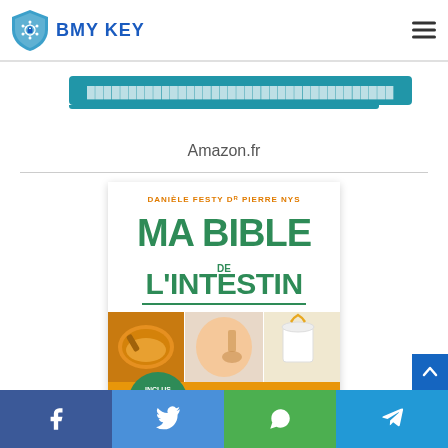BMY KEY
Amazon.fr
[Figure (photo): Book cover of 'Ma Bible de l'Intestin' by Danièle Festy and Dr Pierre Nys, showing turmeric powder, abdominal massage with oil, and a jar of yogurt with honey. Orange and green color scheme with text about inclusions like menus, 300+ recipes, shopping lists, 415 practical tips, Fodmaps, probiotics, prebiotics.]